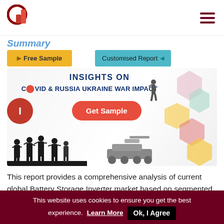[Logo] Dataintelo | Navigation hamburger menu
Summary
[Figure (infographic): Buttons: Free Sample (yellow) and Customised Report (teal), followed by a promotional banner with text 'INSIGHTS ON COVID & RUSSIA UKRAINE WAR IMPACT', Get Sample button (red pill), soldier silhouettes, tank silhouette, hexagon decorations, and a red circle with pause icon.]
This report provides a comprehensive analysis of current global Battery Storage Inverter market based on segmented types and downstream applications. Major product development trends are discussed under major downstream segment
This website uses cookies to ensure you get the best experience. Learn More Ok, I Agree